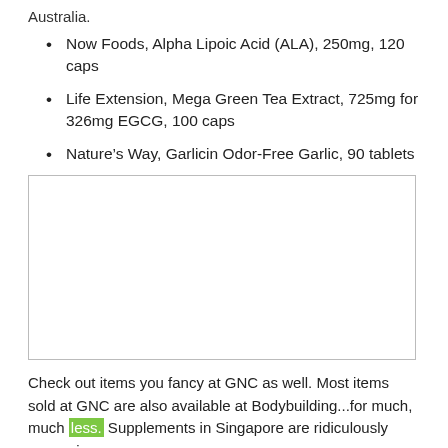Australia.
Now Foods, Alpha Lipoic Acid (ALA), 250mg, 120 caps
Life Extension, Mega Green Tea Extract, 725mg for 326mg EGCG, 100 caps
Nature's Way, Garlicin Odor-Free Garlic, 90 tablets
[Figure (other): Empty white box with border, appears to be a placeholder image]
Check out items you fancy at GNC as well. Most items sold at GNC are also available at Bodybuilding...for much, much less. Supplements in Singapore are ridiculously expensive...even